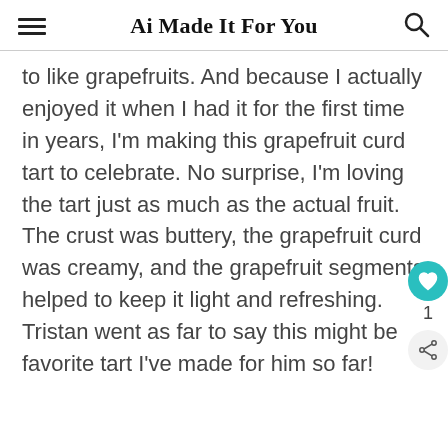Ai Made It For You
to like grapefruits. And because I actually enjoyed it when I had it for the first time in years, I'm making this grapefruit curd tart to celebrate. No surprise, I'm loving the tart just as much as the actual fruit. The crust was buttery, the grapefruit curd was creamy, and the grapefruit segments helped to keep it light and refreshing. Tristan went as far to say this might be favorite tart I've made for him so far!